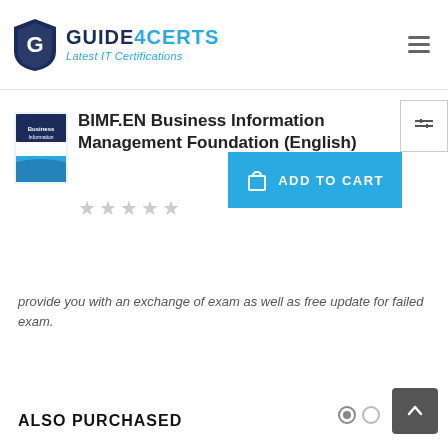[Figure (logo): Guide4Certs logo with shield icon and tagline 'Latest IT Certifications']
BIMF.EN Business Information Management Foundation (English)
[Figure (photo): Book cover thumbnail for BIMF.EN Business Information Management Foundation]
[Figure (other): ADD TO CART button]
provide you with an exchange of exam as well as free update for failed exam.
ALSO PURCHASED